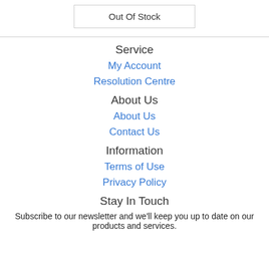Out Of Stock
Service
My Account
Resolution Centre
About Us
About Us
Contact Us
Information
Terms of Use
Privacy Policy
Stay In Touch
Subscribe to our newsletter and we'll keep you up to date on our products and services.